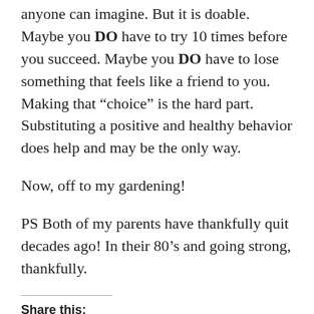anyone can imagine. But it is doable. Maybe you DO have to try 10 times before you succeed. Maybe you DO have to lose something that feels like a friend to you. Making that “choice” is the hard part. Substituting a positive and healthy behavior does help and may be the only way.
Now, off to my gardening!
PS Both of my parents have thankfully quit decades ago! In their 80’s and going strong, thankfully.
Share this: